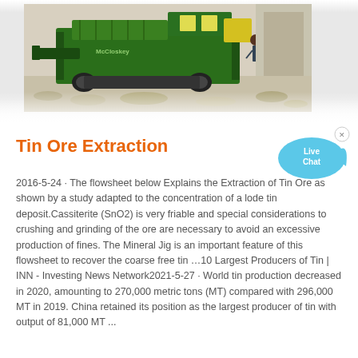[Figure (photo): A large green industrial mining/crushing machine (screener or jaw crusher) on a gravel/quarry site, viewed from the side, with rocks and quarry background.]
Tin Ore Extraction
[Figure (other): Live Chat speech bubble widget — blue chat bubble with 'Live Chat' text and a small x close button, plus a fish-tail shape bubble.]
2016-5-24 · The flowsheet below Explains the Extraction of Tin Ore as shown by a study adapted to the concentration of a lode tin deposit.Cassiterite (SnO2) is very friable and special considerations to crushing and grinding of the ore are necessary to avoid an excessive production of fines. The Mineral Jig is an important feature of this flowsheet to recover the coarse free tin …10 Largest Producers of Tin | INN - Investing News Network2021-5-27 · World tin production decreased in 2020, amounting to 270,000 metric tons (MT) compared with 296,000 MT in 2019. China retained its position as the largest producer of tin with output of 81,000 MT ...